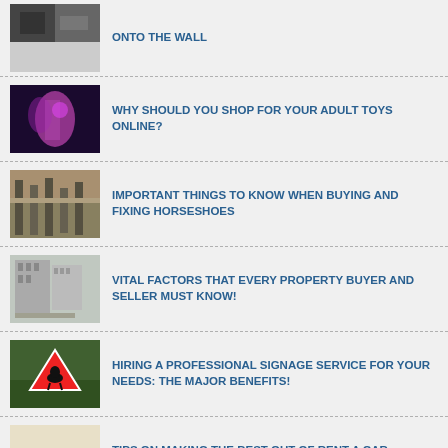ONTO THE WALL
WHY SHOULD YOU SHOP FOR YOUR ADULT TOYS ONLINE?
IMPORTANT THINGS TO KNOW WHEN BUYING AND FIXING HORSESHOES
VITAL FACTORS THAT EVERY PROPERTY BUYER AND SELLER MUST KNOW!
HIRING A PROFESSIONAL SIGNAGE SERVICE FOR YOUR NEEDS: THE MAJOR BENEFITS!
TIPS ON MAKING THE BEST OUT OF RENT A CAR SERVICES
HOW TO IDENTIFY THE BEST PLUMBING SERVICES IN YOUR AREA?
(partial item)